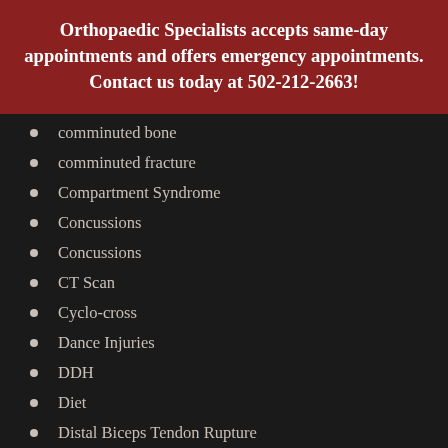Orthopaedic Specialists accepts same-day appointments and offers emergency appointments. Contact us today at 502-212-2663!
comminuted bone
comminuted fracture
Compartment Syndrome
Concussions
Concussions
CT Scan
Cyclo-cross
Dance Injuries
DDH
Diet
Distal Biceps Tendon Rupture
Dr. Grossfeld @ Work
Ergonomics
Exercise
FAI syndrome